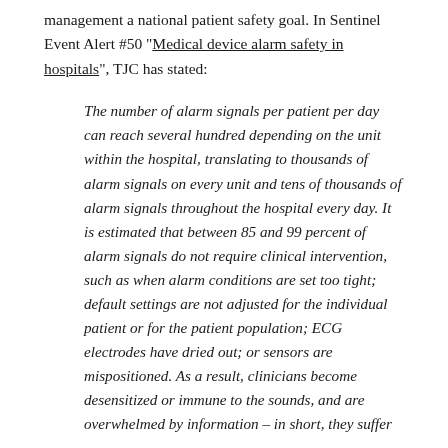management a national patient safety goal. In Sentinel Event Alert #50 “Medical device alarm safety in hospitals”, TJC has stated:
The number of alarm signals per patient per day can reach several hundred depending on the unit within the hospital, translating to thousands of alarm signals on every unit and tens of thousands of alarm signals throughout the hospital every day. It is estimated that between 85 and 99 percent of alarm signals do not require clinical intervention, such as when alarm conditions are set too tight; default settings are not adjusted for the individual patient or for the patient population; ECG electrodes have dried out; or sensors are mispositioned. As a result, clinicians become desensitized or immune to the sounds, and are overwhelmed by information – in short, they suffer